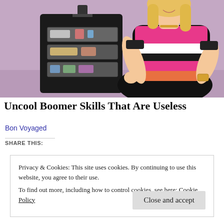[Figure (photo): A smiling blonde woman in a pink, black and white striped top kneeling beside an open rolling suitcase with clear organizer pockets containing toiletries and beauty products, set against a purple/lavender background.]
Uncool Boomer Skills That Are Useless
Bon Voyaged
SHARE THIS:
Privacy & Cookies: This site uses cookies. By continuing to use this website, you agree to their use.
To find out more, including how to control cookies, see here: Cookie Policy